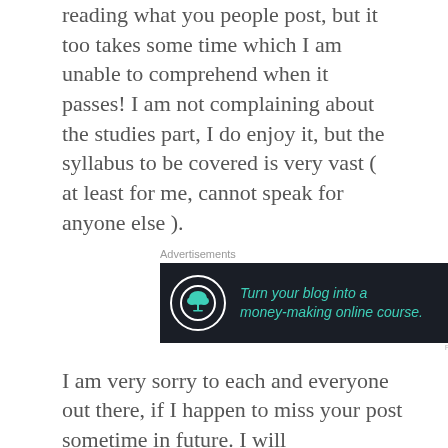reading what you people post, but it too takes some time which I am unable to comprehend when it passes! I am not complaining about the studies part, I do enjoy it, but the syllabus to be covered is very vast ( at least for me, cannot speak for anyone else ).
[Figure (screenshot): Advertisement banner: dark background with bonsai tree icon, teal italic text 'Turn your blog into a money-making online course.' and white arrow pointing right.]
I am very sorry to each and everyone out there, if I happen to miss your post sometime in future. I will
Privacy & Cookies: This site uses cookies. By continuing to use this website, you agree to their use. To find out more, including how to control cookies, see here: Cookie Policy
connect and communicate via this blogging